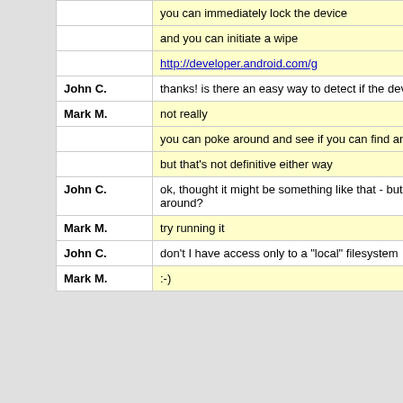|  | you can immediately lock the device |
|  | and you can initiate a wipe |
|  | http://developer.android.com/g |
| John C. | thanks! is there an easy way to detect if the device is rooted / jailbroken? |
| Mark M. | not really |
|  | you can poke around and see if you can find an 'su' binary |
|  | but that's not definitive either way |
| John C. | ok, thought it might be something like that - but give it's sandboxed - how could i poke around? |
| Mark M. | try running it |
| John C. | don't I have access only to a "local" filesystem |
| Mark M. | :-) |